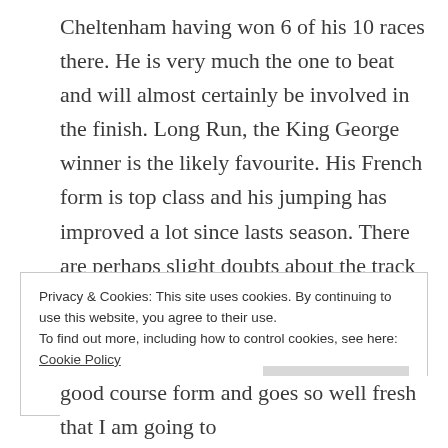Cheltenham having won 6 of his 10 races there. He is very much the one to beat and will almost certainly be involved in the finish. Long Run, the King George winner is the likely favourite. His French form is top class and his jumping has improved a lot since lasts season. There are perhaps slight doubts about the track for him. It may be that he is more of a Kempton horse than a Cheltenham one. His stable has not been quite firing this week which could be a concern.
Privacy & Cookies: This site uses cookies. By continuing to use this website, you agree to their use.
To find out more, including how to control cookies, see here: Cookie Policy
Close and accept
good course form and goes so well fresh that I am going to